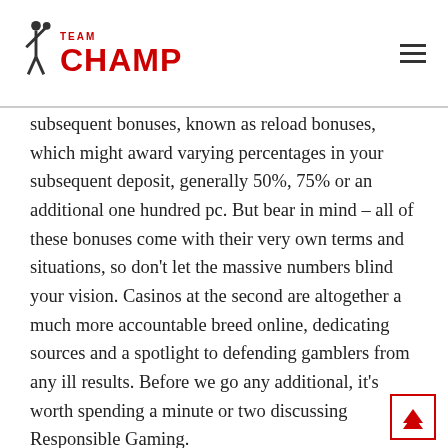TEAM CHAMP
subsequent bonuses, known as reload bonuses, which might award varying percentages in your subsequent deposit, generally 50%, 75% or an additional one hundred pc. But bear in mind – all of these bonuses come with their very own terms and situations, so don't let the massive numbers blind your vision. Casinos at the second are altogether a much more accountable breed online, dedicating sources and a spotlight to defending gamblers from any ill results. Before we go any additional, it's worth spending a minute or two discussing Responsible Gaming.
The finest casinos in my ranking get their stars for gaming range provided that they supply their customers with licensed games made by reputable suppliers like these. Yes, however principally out of time and money if they're utilizing blacklisted techniques and pirated games.